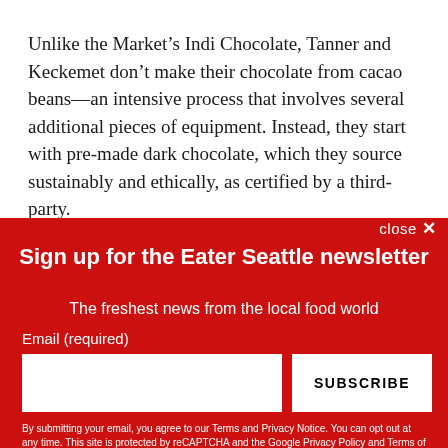Unlike the Market’s Indi Chocolate, Tanner and Keckemet don’t make their chocolate from cacao beans—an intensive process that involves several additional pieces of equipment. Instead, they start with pre-made dark chocolate, which they source sustainably and ethically, as certified by a third-party.
Sign up for the Eater Seattle newsletter
The freshest news from the local food world
Email (required)
SUBSCRIBE
By submitting your email, you agree to our Terms and Privacy Notice. You can opt out at any time. This site is protected by reCAPTCHA and the Google Privacy Policy and Terms of Service apply.